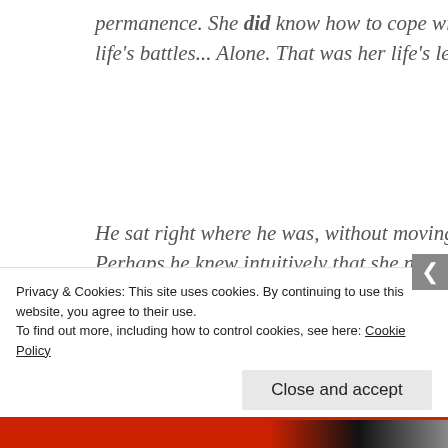permanence. She did know how to cope with life's battles... Alone. That was her life's lesson.
He sat right where he was, without moving. Perhaps he knew intuitively that she needed some space to hear what he had to say. He called out to her loudly and said, “You are here, with me. I love you. You know that. I will teach you to love me. I have enough love for the both of us Khush.”
Privacy & Cookies: This site uses cookies. By continuing to use this website, you agree to their use.
To find out more, including how to control cookies, see here: Cookie Policy
Close and accept